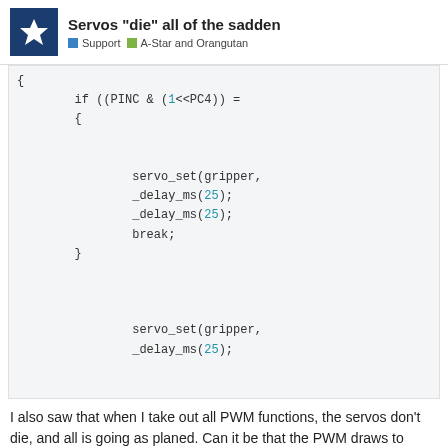Servos “die” all of the sadden | Support | A-Star and Orangutan
[Figure (screenshot): Code snippet showing C code with if ((PINC & (1<<PC4)) condition, servo_set(gripper, _delay_ms(25)); calls, break; statement and closing braces, followed by another servo_set(gripper, _delay_ms(25)); block]
I also saw that when I take out all PWM functions, the servos don't die, and all is going as planed. Can it be that the PWM draws to much power and there is nothing left for the poor little servos?
Thanks